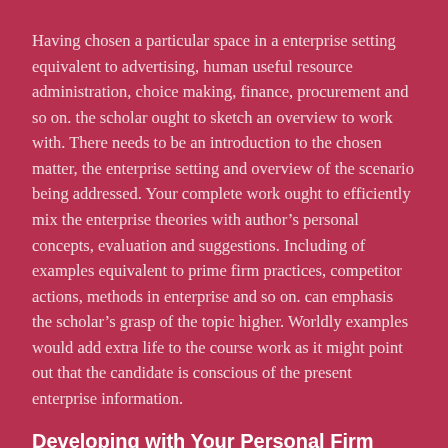Having chosen a particular space in a enterprise setting equivalent to advertising, human useful resource administration, choice making, finance, procurement and so on. the scholar ought to sketch an overview to work with. There needs to be an introduction to the chosen matter, the enterprise setting and overview of the scenario being addressed. Your complete work ought to efficiently mix the enterprise theories with author's personal concepts, evaluation and suggestions. Including of examples equivalent to prime firm practices, competitor actions, methods in enterprise and so on. can emphasis the scholar's grasp of the topic higher. Worldly examples would add extra life to the course work as it might point out that the candidate is conscious of the present enterprise information.
Developing with Your Personal Firm
Along with the above technique a pupil, can create a